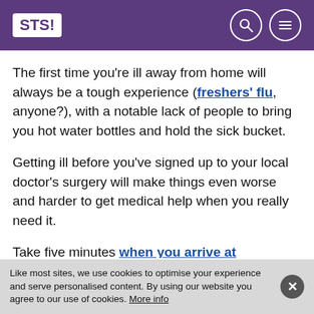STS! [logo] with search and menu icons
The first time you're ill away from home will always be a tough experience (freshers' flu, anyone?), with a notable lack of people to bring you hot water bottles and hold the sick bucket.
Getting ill before you've signed up to your local doctor's surgery will make things even worse and harder to get medical help when you really need it.
Take five minutes when you arrive at university to suss out where your nearest GP is and sign up.
Like most sites, we use cookies to optimise your experience and serve personalised content. By using our website you agree to our use of cookies. More info